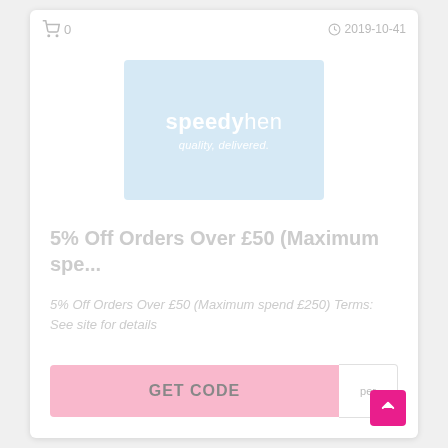0  2019-10-41
[Figure (logo): SpeedyHen logo on light blue background with text 'speedyhen quality, delivered']
5% Off Orders Over £50 (Maximum spe...
5% Off Orders Over £50 (Maximum spend £250) Terms: See site for details
GET CODE  per